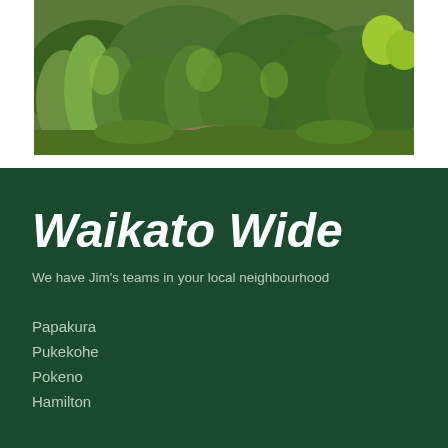[Figure (photo): Photograph of a lush green garden with various plants including tall grassy plants, shrubs, and dense foliage with a pathway visible]
Waikato Wide
We have Jim's teams in your local neighbourhood
Papakura
Pukekohe
Pokeno
Hamilton